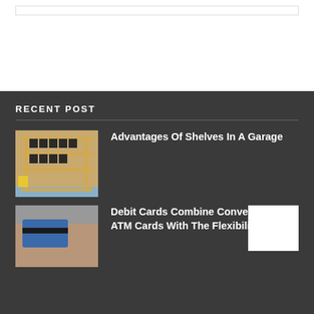RECENT POST
[Figure (photo): Garage shelving unit with wooden frame and dark storage boxes on shelves, blue floor, yellow object visible]
Advantages Of Shelves In A Garage
[Figure (photo): Hands holding a debit/ATM card, partially obscured by white square overlay]
Debit Cards Combine Convenience Of ATM Cards With The Flexibility Of